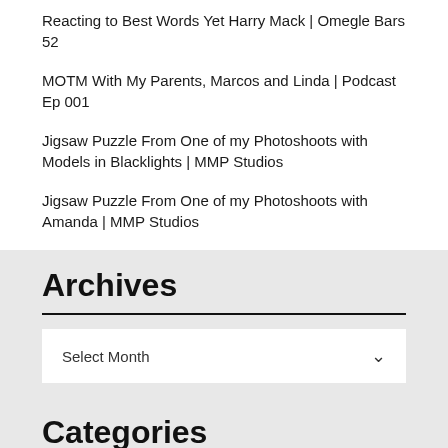Reacting to Best Words Yet Harry Mack | Omegle Bars 52
MOTM With My Parents, Marcos and Linda | Podcast Ep 001
Jigsaw Puzzle From One of my Photoshoots with Models in Blacklights | MMP Studios
Jigsaw Puzzle From One of my Photoshoots with Amanda | MMP Studios
Archives
Select Month
Categories